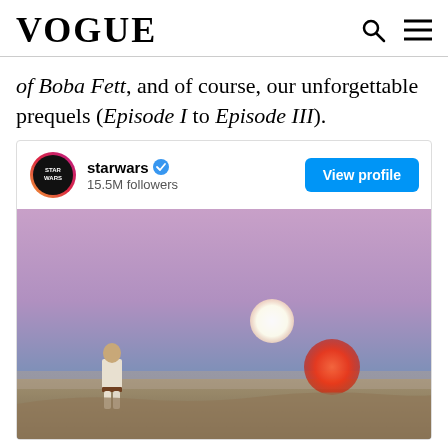VOGUE
of Boba Fett, and of course, our unforgettable prequels (Episode I to Episode III).
[Figure (screenshot): Instagram embed card for @starwars showing 15.5M followers with a View Profile button and a Star Wars image of Luke Skywalker looking at the twin suns of Tatooine at sunset.]